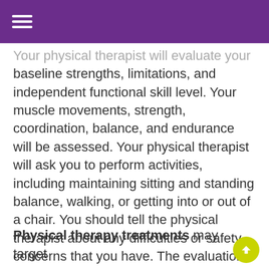Your physical therapist will evaluate your baseline strengths, limitations, and independent functional skill level. Your muscle movements, strength, coordination, balance, and endurance will be assessed. Your physical therapist will ask you to perform activities, including maintaining sitting and standing balance, walking, or getting into or out of a chair. You should tell the physical therapist about any difficulties or safety concerns that you have. The evaluation results and your input are used to formulate a customized treatment plan that prioritizes your specific short term and long term goals.
Physical therapy treatments may target